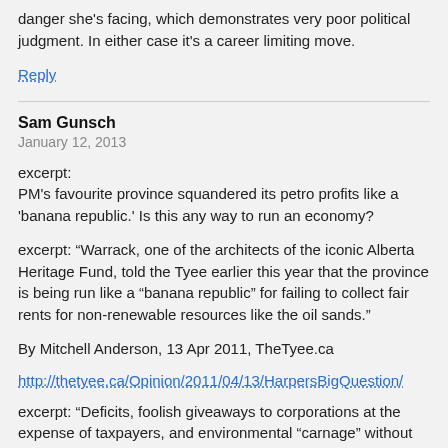danger she's facing, which demonstrates very poor political judgment. In either case it's a career limiting move.
Reply
Sam Gunsch
January 12, 2013
excerpt:
PM's favourite province squandered its petro profits like a 'banana republic.' Is this any way to run an economy?
excerpt: “Warrack, one of the architects of the iconic Alberta Heritage Fund, told the Tyee earlier this year that the province is being run like a “banana republic” for failing to collect fair rents for non-renewable resources like the oil sands.”
By Mitchell Anderson, 13 Apr 2011, TheTyee.ca
http://thetyee.ca/Opinion/2011/04/13/HarpersBigQuestion/
excerpt: “Deficits, foolish giveaways to corporations at the expense of taxpayers, and environmental “carnage” without funds to fix it, according to Allan Warrack, a